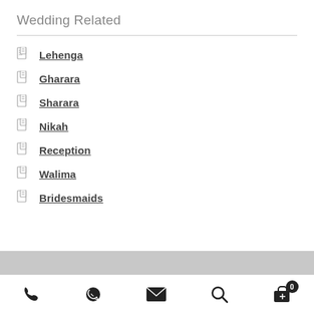Wedding Related
Lehenga
Gharara
Sharara
Nikah
Reception
Walima
Bridesmaids